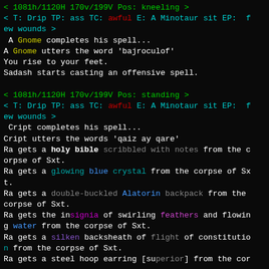< 1081h/1120H 170v/199V Pos: kneeling >
< T: Drip TP: ass TC: awful E: A Minotaur sit EP:  few wounds >
A Gnome completes his spell...
A Gnome utters the word 'bajroculof'
You rise to your feet.
Sadash starts casting an offensive spell.
< 1081h/1120H 170v/199V Pos: standing >
< T: Drip TP: ass TC: awful E: A Minotaur sit EP:  few wounds >
Cript completes his spell...
Cript utters the words 'qaiz ay qare'
Ra gets a holy bible scribbled with notes from the corpse of Sxt.
Ra gets a glowing blue crystal from the corpse of Sxt.
Ra gets a double-buckled Alatorin backpack from the corpse of Sxt.
Ra gets the insignia of swirling feathers and flowing water from the corpse of Sxt.
Ra gets a silken backsheath of flight of constitution from the corpse of Sxt.
Ra gets a steel hoop earring [superior] from the cor